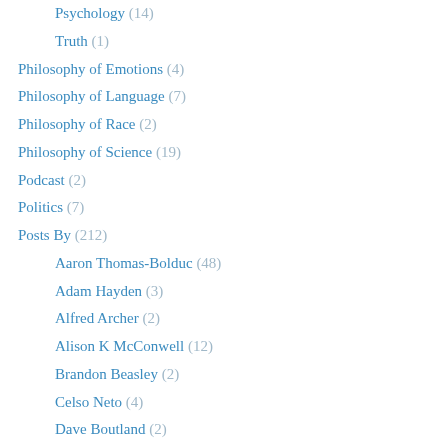Psychology (14)
Truth (1)
Philosophy of Emotions (4)
Philosophy of Language (7)
Philosophy of Race (2)
Philosophy of Science (19)
Podcast (2)
Politics (7)
Posts By (212)
Aaron Thomas-Bolduc (48)
Adam Hayden (3)
Alfred Archer (2)
Alison K McConwell (12)
Brandon Beasley (2)
Celso Neto (4)
Dave Boutland (2)
Gordon Hawkes (10)
James DiGiovanna (6)
Jamie M. Lombardi (2)
Janella Baxter (2)